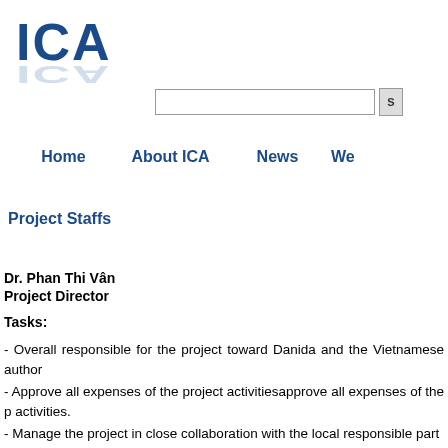[Figure (logo): ICA logo with blue letters ICA and reflection below]
Home    About ICA    News    We
Project Staffs
Dr. Phan Thi Vân
Project Director
Tasks:
- Overall responsible for the project toward Danida and the Vietnamese author
- Approve all expenses of the project activitiesapprove all expenses of the p activities.
- Manage the project in close collaboration with the local responsible part